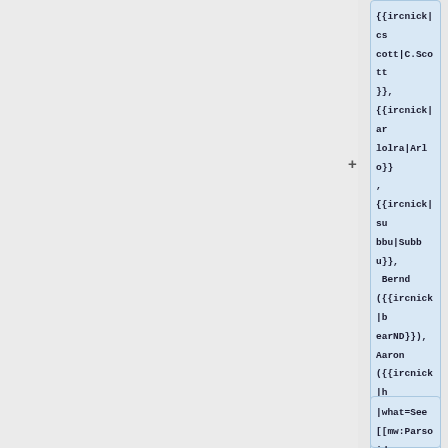{{ircnick|cscott|C.Scott}},
{{ircnick|arlolra|Arlo}},
{{ircnick|subbu|Subbu}},
 Bernd ({{ircnick|bearND}}),
Aaron ({{ircnick|halfak}}),
Amir ({{ircnick|Amir1}})
|what=See [[mw:Parsoid/Deployments]],